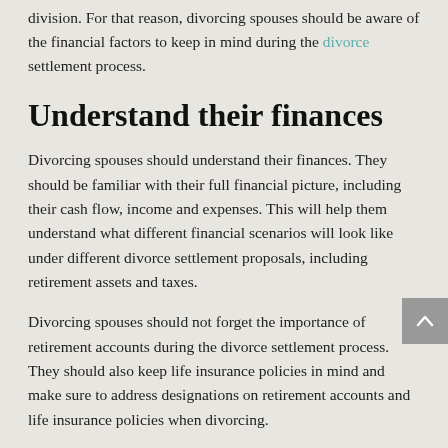division. For that reason, divorcing spouses should be aware of the financial factors to keep in mind during the divorce settlement process.
Understand their finances
Divorcing spouses should understand their finances. They should be familiar with their full financial picture, including their cash flow, income and expenses. This will help them understand what different financial scenarios will look like under different divorce settlement proposals, including retirement assets and taxes.
Divorcing spouses should not forget the importance of retirement accounts during the divorce settlement process. They should also keep life insurance policies in mind and make sure to address designations on retirement accounts and life insurance policies when divorcing.